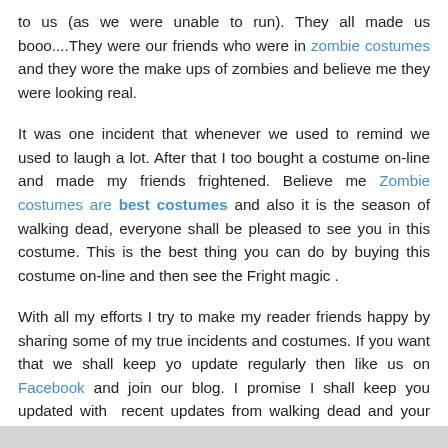to us (as we were unable to run). They all made us booo....They were our friends who were in zombie costumes and they wore the make ups of zombies and believe me they were looking real.
It was one incident that whenever we used to remind we used to laugh a lot. After that I too bought a costume on-line and made my friends frightened. Believe me Zombie costumes are best costumes and also it is the season of walking dead, everyone shall be pleased to see you in this costume. This is the best thing you can do by buying this costume on-line and then see the Fright magic .
With all my efforts I try to make my reader friends happy by sharing some of my true incidents and costumes. If you want that we shall keep yo update regularly then like us on Facebook and join our blog. I promise I shall keep you updated with recent updates from walking dead and your loveable shows and costumes.